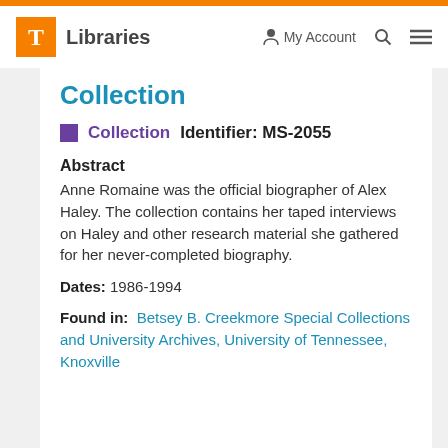T Libraries   My Account  Search  Menu
Collection
Collection   Identifier: MS-2055
Abstract
Anne Romaine was the official biographer of Alex Haley. The collection contains her taped interviews on Haley and other research material she gathered for her never-completed biography.
Dates: 1986-1994
Found in:   Betsey B. Creekmore Special Collections and University Archives, University of Tennessee, Knoxville